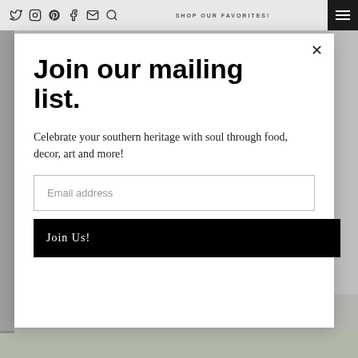Twitter Instagram Pinterest Facebook Email Search SHOP OUR FAVORITES! [hamburger menu]
Join our mailing list.
Celebrate your southern heritage with soul through food, decor, art and more!
Email address
Join Us!